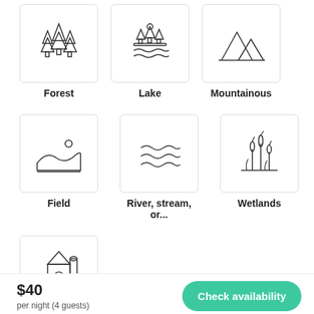[Figure (illustration): Forest icon: outline illustration of multiple pine/fir trees]
Forest
[Figure (illustration): Lake icon: outline illustration of trees on a platform over water with sun]
Lake
[Figure (illustration): Mountainous icon: outline illustration of mountain peaks]
Mountainous
[Figure (illustration): Field icon: outline illustration of rolling landscape with sun]
Field
[Figure (illustration): River, stream icon: outline illustration of wavy water lines]
River, stream, or...
[Figure (illustration): Wetlands icon: outline illustration of marsh reeds/cattails]
Wetlands
[Figure (illustration): Partially visible icon at bottom left, appears to show a barn or rural structure]
$40
per night (4 guests)
Check availability